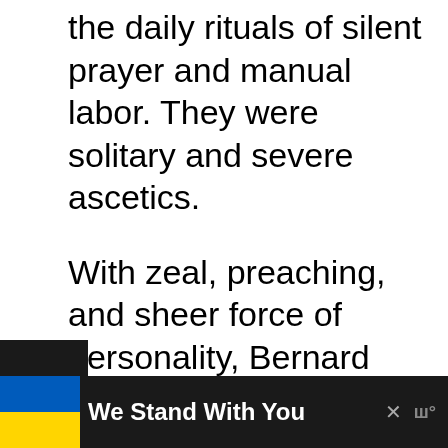the daily rituals of silent prayer and manual labor. They were solitary and severe ascetics.
With zeal, preaching, and sheer force of personality, Bernard grew the order and it reached its zenith in the 12th century, becoming rich and powerful. Alcobaça's church and monastery reflect this
[Figure (screenshot): Advertisement banner at bottom: dark background with Ukrainian flag (blue and yellow), text 'We Stand With You' in white bold, close button X, and a logo icon on the right.]